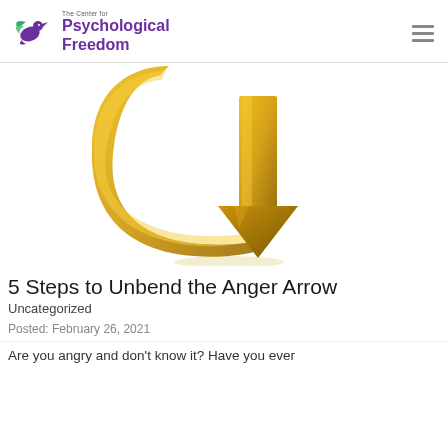The Center for Psychological Freedom
[Figure (illustration): A golden curved arrow bending downward, forming a hook or bent arrow shape pointing down, symbolizing the 'Anger Arrow' concept.]
5 Steps to Unbend the Anger Arrow
Uncategorized
Posted: February 26, 2021
Are you angry and don't know it? Have you ever